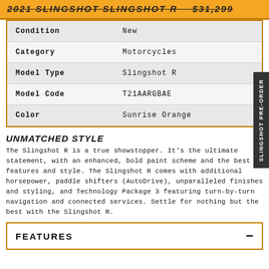2021 SLINGSHOT SLINGSHOT R — $31,299
| Attribute | Value |
| --- | --- |
| Condition | New |
| Category | Motorcycles |
| Model Type | Slingshot R |
| Model Code | T21AARGBAE |
| Color | Sunrise Orange |
UNMATCHED STYLE
The Slingshot R is a true showstopper. It's the ultimate statement, with an enhanced, bold paint scheme and the best in features and style. The Slingshot R comes with additional horsepower, paddle shifters (AutoDrive), unparalleled finishes and styling, and Technology Package 3 featuring turn-by-turn navigation and connected services. Settle for nothing but the best with the Slingshot R.
FEATURES